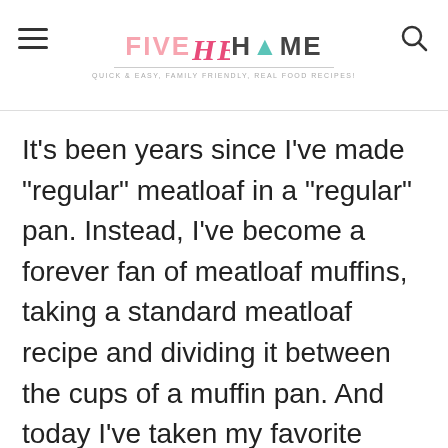FIVE heart HOME — Quick & Easy, Family Friendly, Real Food Recipes!
It's been years since I've made "regular" meatloaf in a "regular" pan. Instead, I've become a forever fan of meatloaf muffins, taking a standard meatloaf recipe and dividing it between the cups of a muffin pan. And today I've taken my favorite method and turned it into tasty Turkey Meatloaf Muffins!